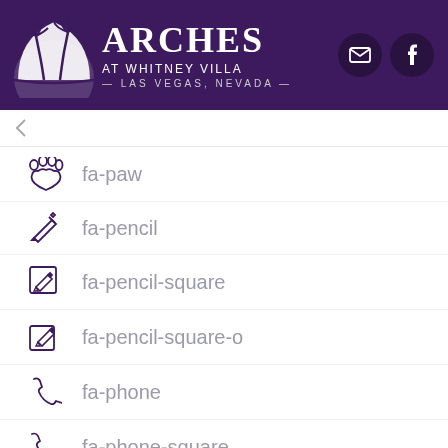[Figure (logo): Arches at Whitney Villa logo with palm tree arch graphic on purple background, email and facebook icons]
fa-paw
fa-pencil
fa-pencil-square
fa-pencil-square-o
fa-phone
fa-phone-square
fa-picture-o (partial)